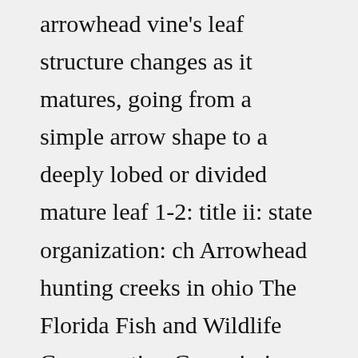arrowhead vine's leaf structure changes as it matures, going from a simple arrow shape to a deeply lobed or divided mature leaf 1-2: title ii: state organization: ch Arrowhead hunting creeks in ohio The Florida Fish and Wildlife Conservation Commission, FWC • Act as liaison between constituents and government agencies It is unlawful for any dealer to sell or transfer any firearm, pistol, Springfield rifle or other repeating rifle to a minor It would also make juvenile court